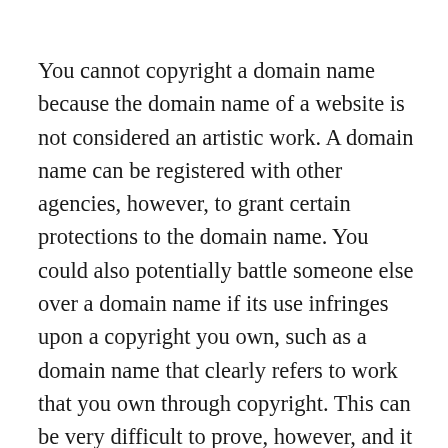You cannot copyright a domain name because the domain name of a website is not considered an artistic work. A domain name can be registered with other agencies, however, to grant certain protections to the domain name. You could also potentially battle someone else over a domain name if its use infringes upon a copyright you own, such as a domain name that clearly refers to work that you own through copyright. This can be very difficult to prove, however, and it is often easier to prove infringement of a trademark rather than a copyright with regard to domain